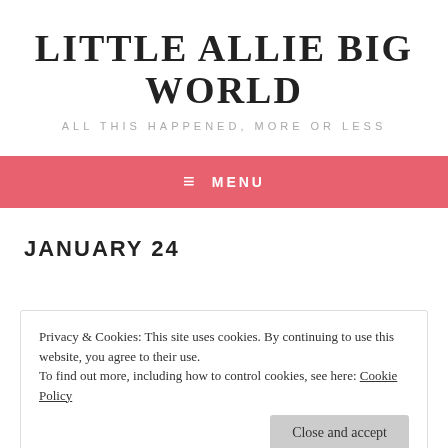LITTLE ALLIE BIG WORLD
ALL THIS HAPPENED, MORE OR LESS
≡ MENU
JANUARY 24
Privacy & Cookies: This site uses cookies. By continuing to use this website, you agree to their use.
To find out more, including how to control cookies, see here: Cookie Policy
Close and accept
Well THAT date was a disaster to the umpteenth degree. I